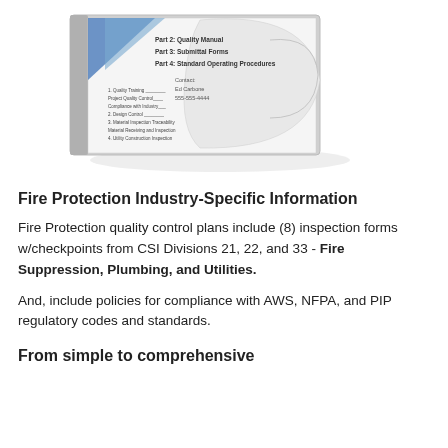[Figure (illustration): A book or binder illustration showing a quality manual with pages including Part 2: Quality Manual, Part 3: Submittal Forms, Part 4: Standard Operating Procedures, with a contact name Ed Carbone and phone number 555-555-4444, and a table of contents listing sections like Quality Training, Project Quality Control, Compliance with Industry Codes, Design Control, Material/Inspection Traceability, Utility Construction Inspection, and Utility Construction Work Task Quality Requirements.]
Fire Protection Industry-Specific Information
Fire Protection quality control plans include (8) inspection forms w/checkpoints from CSI Divisions 21, 22, and 33 - Fire Suppression, Plumbing, and Utilities.
And, include policies for compliance with AWS, NFPA, and PIP regulatory codes and standards.
From simple to comprehensive